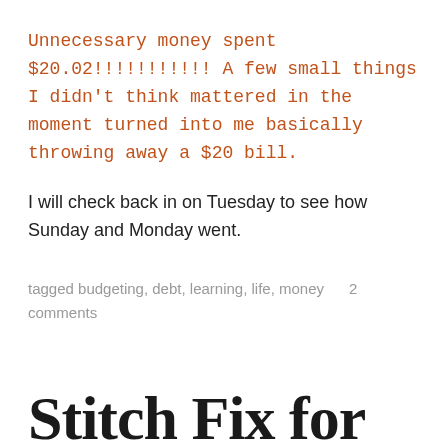Unnecessary money spent $20.02!!!!!!!!!!  A few small things I didn't think mattered in the moment turned into me basically throwing away a $20 bill.
I will check back in on Tuesday to see how Sunday and Monday went.
tagged budgeting, debt, learning, life, money     2 comments
Stitch Fix for Europe!!!